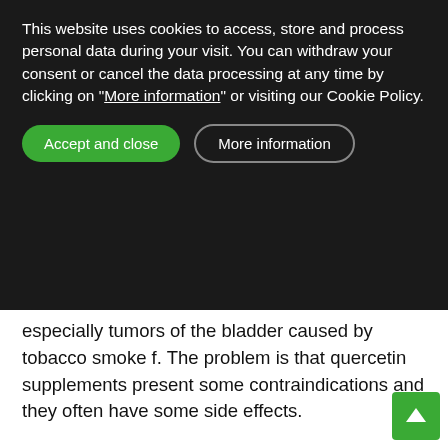This website uses cookies to access, store and process personal data during your visit. You can withdraw your consent or cancel the data processing at any time by clicking on "More information" or visiting our Cookie Policy.
Accept and close | More information
especially tumors of the bladder caused by tobacco smoke f. The problem is that quercetin supplements present some contraindications and they often have some side effects.
We have other resources to ingest this component in a natural way. We can choose eating lots of onions, which are the richest food, using oats, or eating apples which are the richest fruit in quercetin and the third food after onions and oats. There is an even better opportunity to combine oats with apple for breakfast. We can prepare a rich muesli with these two foods, along with yogurt, honey and raisins that will provi